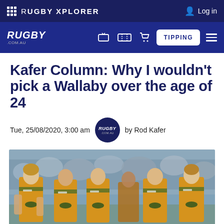RUGBY XPLORER
RUGBY.COM.AU — TIPPING
Kafer Column: Why I wouldn't pick a Wallaby over the age of 24
Tue, 25/08/2020, 3:00 am  by Rod Kafer
[Figure (photo): Australian Wallabies rugby players in yellow and green jerseys jogging together on a field, with crowd in background]